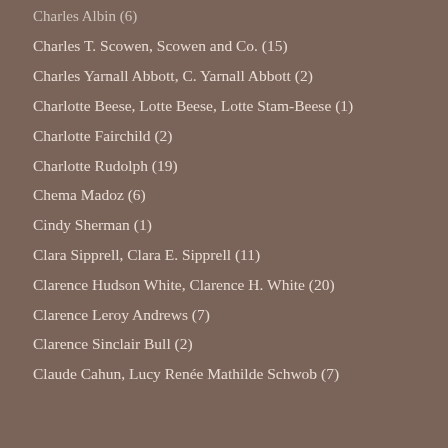Charles Albin (6)
Charles T. Scowen, Scowen and Co. (15)
Charles Yarnall Abbott, C. Yarnall Abbott (2)
Charlotte Beese, Lotte Beese, Lotte Stam-Beese (1)
Charlotte Fairchild (2)
Charlotte Rudolph (19)
Chema Madoz (6)
Cindy Sherman (1)
Clara Sipprell, Clara E. Sipprell (11)
Clarence Hudson White, Clarence H. White (20)
Clarence Leroy Andrews (7)
Clarence Sinclair Bull (2)
Claude Cahun, Lucy Renée Mathilde Schwob (7)